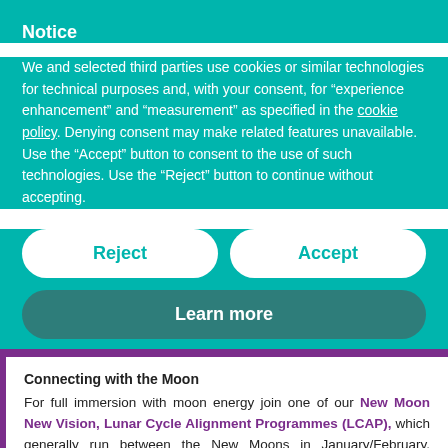Notice
We and selected third parties use cookies or similar technologies for technical purposes and, with your consent, for “experience enhancement” and “measurement” as specified in the cookie policy. Denying consent may make related features unavailable. Use the “Accept” button to consent to the use of such technologies. Use the “Reject” button to continue without accepting.
Reject
Accept
Learn more
Connecting with the Moon
For full immersion with moon energy join one of our New Moon New Vision, Lunar Cycle Alignment Programmes (LCAP), which generally run between the New Moons in January/February, April/May &